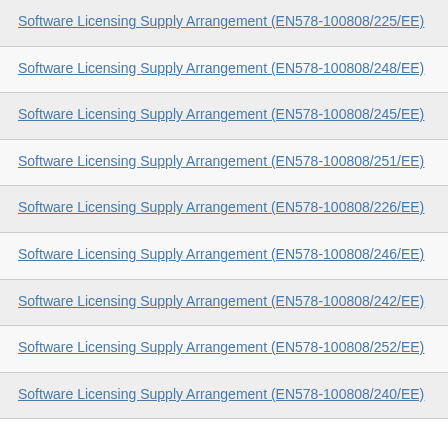Software Licensing Supply Arrangement (EN578-100808/225/EE)
Software Licensing Supply Arrangement (EN578-100808/248/EE)
Software Licensing Supply Arrangement (EN578-100808/245/EE)
Software Licensing Supply Arrangement (EN578-100808/251/EE)
Software Licensing Supply Arrangement (EN578-100808/226/EE)
Software Licensing Supply Arrangement (EN578-100808/246/EE)
Software Licensing Supply Arrangement (EN578-100808/242/EE)
Software Licensing Supply Arrangement (EN578-100808/252/EE)
Software Licensing Supply Arrangement (EN578-100808/240/EE)